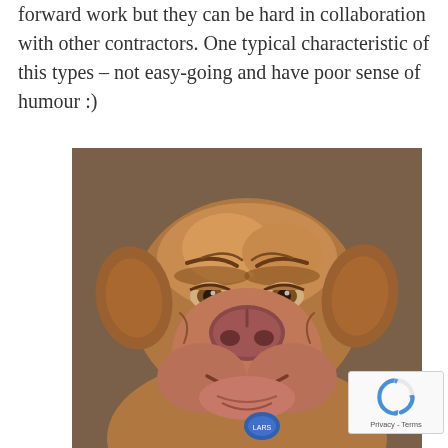forward work but they can be hard in collaboration with other contractors. One typical characteristic of this types – not easy-going and have poor sense of humour :)
[Figure (photo): A grumpy-looking dog (pug-boxer mix or similar breed) with a frowning expression, brown/tan coloring, looking directly at camera. The dog appears to be wearing a blue collar tag.]